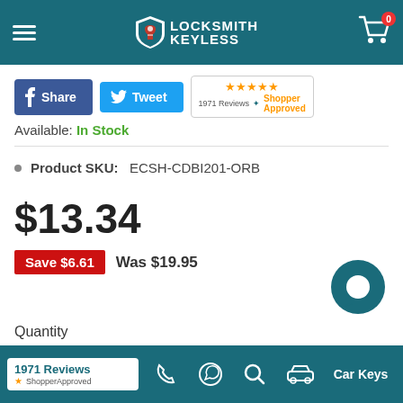[Figure (screenshot): Locksmith Keyless e-commerce product page header with logo, hamburger menu, and cart icon showing 0 items]
[Figure (infographic): Facebook Share button, Twitter Tweet button, and Shopper Approved 1971 Reviews badge with 5 stars]
Available: In Stock
Product SKU: ECSH-CDBI201-ORB
$13.34
Save $6.61   Was $19.95
Quantity
[Figure (infographic): Bottom navigation bar with 1971 Reviews Shopper Approved badge, phone icon, WhatsApp icon, search icon, car icon, and Car Keys label]